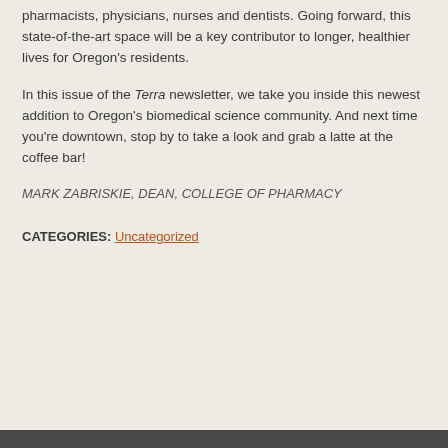pharmacists, physicians, nurses and dentists. Going forward, this state-of-the-art space will be a key contributor to longer, healthier lives for Oregon's residents.
In this issue of the Terra newsletter, we take you inside this newest addition to Oregon's biomedical science community. And next time you're downtown, stop by to take a look and grab a latte at the coffee bar!
MARK ZABRISKIE, DEAN, COLLEGE OF PHARMACY
CATEGORIES: Uncategorized